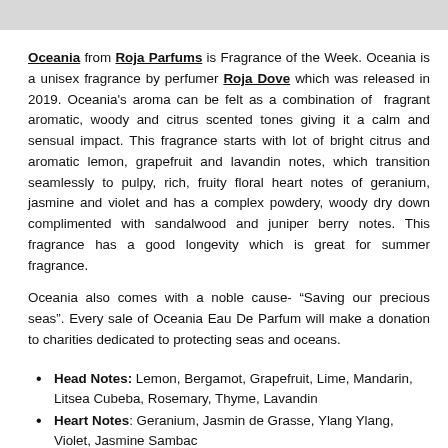Oceania from Roja Parfums is Fragrance of the Week. Oceania is a unisex fragrance by perfumer Roja Dove which was released in 2019. Oceania's aroma can be felt as a combination of fragrant aromatic, woody and citrus scented tones giving it a calm and sensual impact. This fragrance starts with lot of bright citrus and aromatic lemon, grapefruit and lavandin notes, which transition seamlessly to pulpy, rich, fruity floral heart notes of geranium, jasmine and violet and has a complex powdery, woody dry down complimented with sandalwood and juniper berry notes. This fragrance has a good longevity which is great for summer fragrance.
Oceania also comes with a noble cause- “Saving our precious seas”. Every sale of Oceania Eau De Parfum will make a donation to charities dedicated to protecting seas and oceans.
Head Notes: Lemon, Bergamot, Grapefruit, Lime, Mandarin, Litsea Cubeba, Rosemary, Thyme, Lavandin
Heart Notes: Geranium, Jasmin de Grasse, Ylang Ylang, Violet, Jasmine Sambac